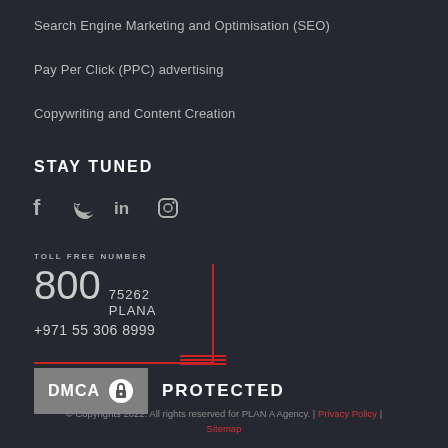Search Engine Marketing and Optimisation (SEO)
Pay Per Click (PPC) advertising
Copywriting and Content Creation
STAY TUNED
[Figure (infographic): Social media icons: Facebook, Twitter, LinkedIn, Instagram]
TOLL FREE NUMBER
800  75262 PLANA
+971 55 306 8999
[Figure (logo): DMCA PROTECTED badge with lock icon]
© Copyrights 2022. All rights reserved for PLAN A Agency. | Privacy Policy | Sitemap